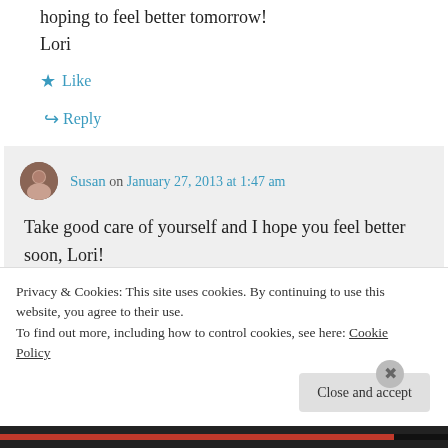hoping to feel better tomorrow!
Lori
Like
Reply
Susan on January 27, 2013 at 1:47 am
Take good care of yourself and I hope you feel better soon, Lori!
Privacy & Cookies: This site uses cookies. By continuing to use this website, you agree to their use.
To find out more, including how to control cookies, see here: Cookie Policy
Close and accept